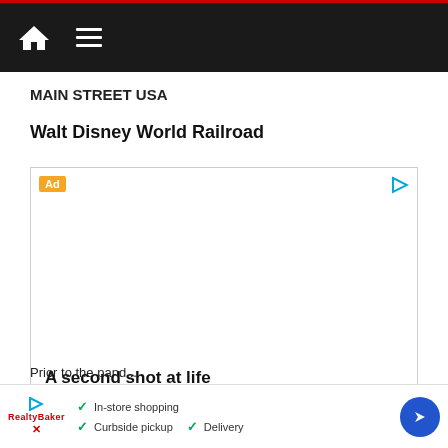Navigation bar with home and menu icons
MAIN STREET USA
Walt Disney World Railroad
[Figure (screenshot): Advertisement box with 'Ad' label, play icon, inner content titled 'A second shot at life', and a thumbnail strip at the bottom with red square logo and partial text 'Thermo Fi...']
[Figure (infographic): Overlay ad bar at bottom with play/X icons, RealtyBakery branding, and three checklist items: 'In-store shopping', 'Curbside pickup', 'Delivery', plus a blue navigation arrow icon on the right]
Prior to the pand...